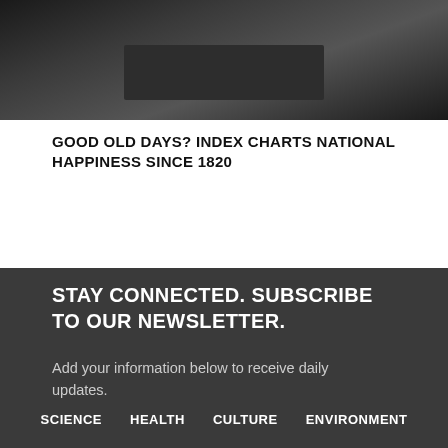[Figure (photo): Dark photo of a person, partially obscured by a dark/black rectangle overlay]
GOOD OLD DAYS? INDEX CHARTS NATIONAL HAPPINESS SINCE 1820
STAY CONNECTED. SUBSCRIBE TO OUR NEWSLETTER.
Add your information below to receive daily
SCIENCE  HEALTH  CULTURE  ENVIRONMENT